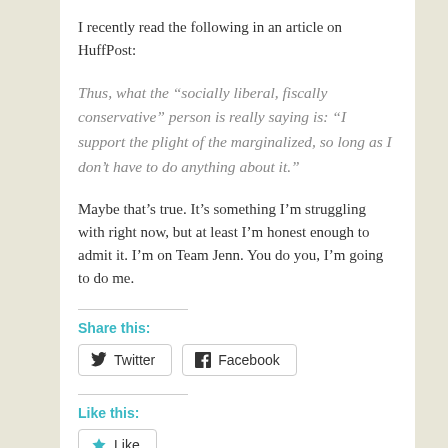I recently read the following in an article on HuffPost:
Thus, what the “socially liberal, fiscally conservative” person is really saying is: “I support the plight of the marginalized, so long as I don’t have to do anything about it.”
Maybe that’s true. It’s something I’m struggling with right now, but at least I’m honest enough to admit it. I’m on Team Jenn. You do you, I’m going to do me.
Share this:
Twitter  Facebook
Like this:
Like
Be the first to like this.